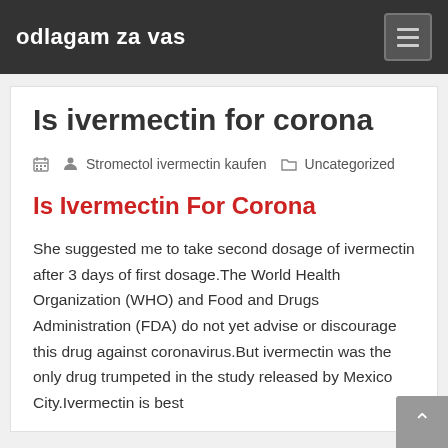odlagam za vas
Is ivermectin for corona
Stromectol ivermectin kaufen   Uncategorized
Is Ivermectin For Corona
She suggested me to take second dosage of ivermectin after 3 days of first dosage.The World Health Organization (WHO) and Food and Drugs Administration (FDA) do not yet advise or discourage this drug against coronavirus.But ivermectin was the only drug trumpeted in the study released by Mexico City.Ivermectin is best